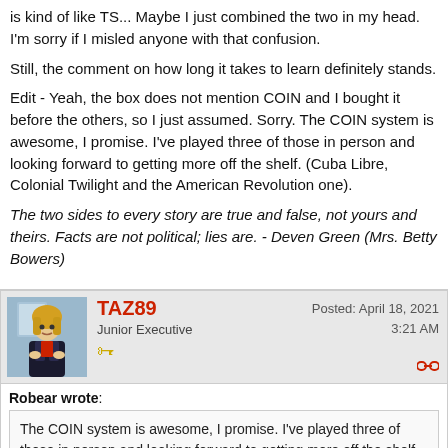is kind of like TS... Maybe I just combined the two in my head. I'm sorry if I misled anyone with that confusion.
Still, the comment on how long it takes to learn definitely stands.
Edit - Yeah, the box does not mention COIN and I bought it before the others, so I just assumed. Sorry. The COIN system is awesome, I promise. I've played three of those in person and looking forward to getting more off the shelf. (Cuba Libre, Colonial Twilight and the American Revolution one).
The two sides to every story are true and false, not yours and theirs. Facts are not political; lies are. - Deven Green (Mrs. Betty Bowers)
TAZ89
Junior Executive
Posted: April 18, 2021 3:21 AM
Robear wrote:
The COIN system is awesome, I promise. I've played three of those in person and looking forward to getting more off the shelf. (Cuba Libre, Colonial Twilight and the American Revolution one).
I agree, COIN is a great system. I have Falling Sky (Roman v Gaul) and Liberty or Death (US Revolution) and they are both great. Take your time to get to